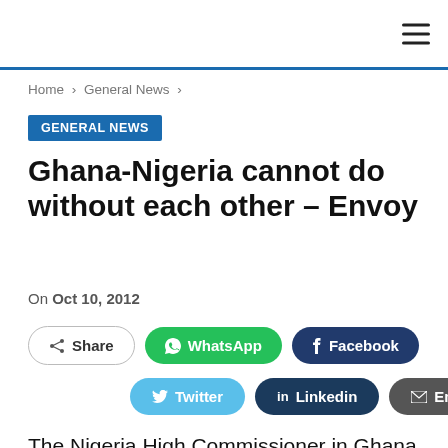≡
Home > General News >
GENERAL NEWS
Ghana-Nigeria cannot do without each other – Envoy
On Oct 10, 2012
Share | WhatsApp | Facebook | Twitter | Linkedin | Email
The Nigeria High Commissioner in Ghana, Chief Ademola Onafowakan, has said Ghana and Nigeria cannot do without each other.